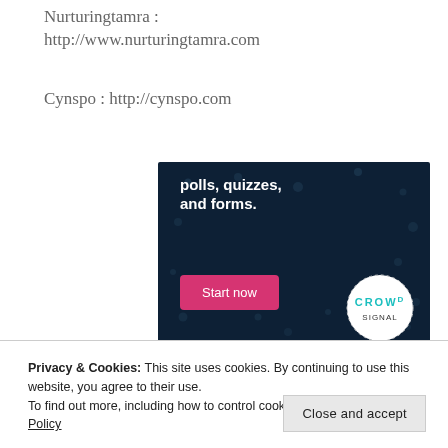Nurturingtamra : http://www.nurturingtamra.com
Cynspo : http://cynspo.com
[Figure (screenshot): Dark navy advertisement banner showing text 'polls, quizzes, and forms.' with a pink 'Start now' button and a circular 'CROWD' logo in the bottom right corner with decorative dots.]
Privacy & Cookies: This site uses cookies. By continuing to use this website, you agree to their use.
To find out more, including how to control cookies, see here: Cookie Policy
Close and accept